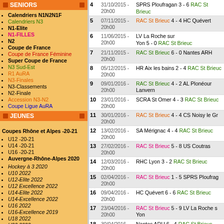SENIORS
Calendriers N1N2N1F
Calendriers N3
N1-Elite
N1-FILLES
N2
Coupe de France
Coupe de France Féminine
Super Coupe de France
N3 Sud-Est
R1 AuRA
N3-Finales
N3-Classements
N2-Finale
Accession N3-N2
Coupe Ligue AuRA
JEUNES
Coupes Rhône et Alpes -20-21
U12 -20-21
U14 -20-21
U16 -20-21
Auvergne-Rhône-Alpes 2020
Hockey à 3 2020
U10 2022
U12-Elite 2022
U12 Excellence 2022
U14-Elite 2022
U14-Excellence 2022
U16 2022
U16-Excellence 2019
U18 2022
U20 2022
| # | Date | Match |
| --- | --- | --- |
| 4 | 31/10/2015 - 20h00 | SPRS Ploufragan 3 - 6 RAC St Brieuc |
| 5 | 07/11/2015 - 20h00 | RAC St Brieuc 4 - 4 HC Quévert |
| 6 | 11/06/2015 - 20h00 | LV La Roche sur Yon 5 - 0 RAC St Brieuc |
| 7 | 21/11/2015 - 20h00 | RAC St Brieuc 6 - 0 Nantes ARH |
| 8 | 05/12/2015 - 20h00 | HR Aix les bains 2 - 4 RAC St Brieuc |
| 9 | 09/01/2016 - 20h00 | RAC St Brieuc 4 - 2 AL Plonéour Lanvern |
| 10 | 23/01/2016 - 20h00 | SCRA St Omer 4 - 3 RAC St Brieuc |
| 11 | 30/01/2016 - 20h00 | RAC St Brieuc 4 - 4 CS Noisy le Gr |
| 12 | 13/02/2016 - 20h00 | SA Mérignac 4 - 4 RAC St Brieuc |
| 13 | 27/02/2016 - 20h00 | RAC St Brieuc 5 - 8 US Coutras |
| 14 | 12/03/2016 - 20h00 | RHC Lyon 3 - 2 RAC St Brieuc |
| 15 | 02/04/2016 - 20h00 | RAC St Brieuc 1 - 5 SPRS Ploufrag |
| 16 | 09/04/2016 - 20h00 | HC Quévert 6 - 6 RAC St Brieuc |
| 17 | 23/04/2016 - 20h00 | RAC St Brieuc 5 - 9 LV La Roche s Yon |
| 18 | 30/04/2016 - 20h00 | Nantes ARH 6 - 4 RAC St Brieuc |
| 19 | 07/05/2016 - 20h00 | RAC St Brieuc 8 - 4 HR Aix les bain |
| 20 | 21/05/2016 - 20h00 | AL Plonéour Lanvern 4 - 6 RAC St Brieuc |
| 21 | 28/05/2016 - 20h00 | RAC St Brieuc 4 - 4 SCRA St Omer |
| 22 | 04/06/2016 - 20h00 | CS Noisy le Grand 4 - 4 RAC St Brieuc |